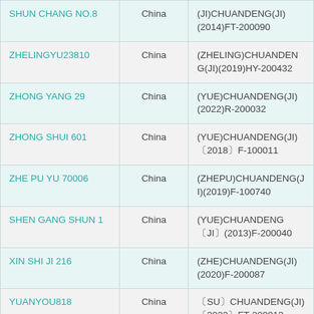| SHUN CHANG NO.8 | China | (JI)CHUANDENG(JI)(2014)FT-200090 |
| ZHELINGYU23810 | China | (ZHELING)CHUANDENG(JI)(2019)HY-200432 |
| ZHONG YANG 29 | China | (YUE)CHUANDENG(JI)(2022)R-200032 |
| ZHONG SHUI 601 | China | (YUE)CHUANDENG(JI)〔2018〕F-100011 |
| ZHE PU YU 70006 | China | (ZHEPU)CHUANDENG(JI)(2019)F-100740 |
| SHEN GANG SHUN 1 | China | (YUE)CHUANDENG〔JI〕(2013)F-200040 |
| XIN SHI JI 216 | China | (ZHE)CHUANDENG(JI)(2020)F-200087 |
| YUANYOU818 | China | 〔SU〕CHUANDENG(JI)〔2022〕FT-200013 |
| ZHONG SHUI 705 | China | (LU)CHUANDENG(JI)(2022)FT-... |